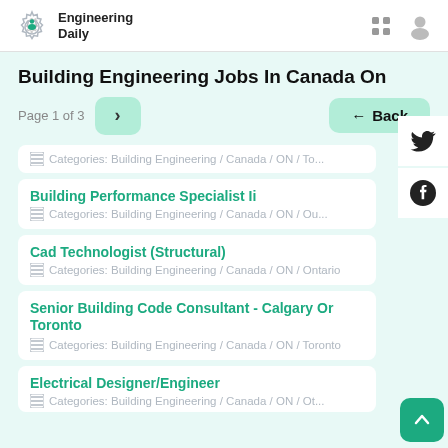Engineering Daily
Building Engineering Jobs In Canada On
Page 1 of 3
Building Performance Specialist Ii — Categories: Building Engineering / Canada / ON / Ou...
Cad Technologist (Structural) — Categories: Building Engineering / Canada / ON / Ontario
Senior Building Code Consultant - Calgary Or Toronto — Categories: Building Engineering / Canada / ON / Toronto
Electrical Designer/Engineer — Categories: Building Engineering / Canada / ON / Ot...